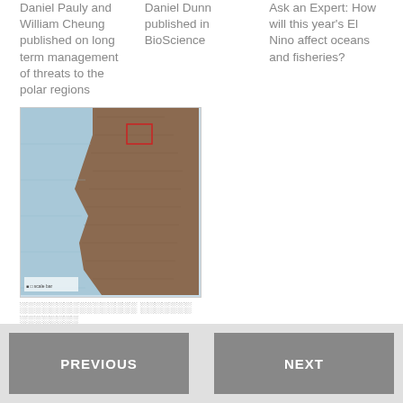Daniel Pauly and William Cheung published on long term management of threats to the polar regions
Daniel Dunn published in BioScience
Ask an Expert: How will this year's El Nino affect oceans and fisheries?
[Figure (map): Coastal map showing a northwest coastline with brown landmass on the right and blue ocean on the left, with a small red rectangle inset marker.]
░░░░░░░░░░░░░░░░ ░░░░░░░ ░░░░░░░░
Canadian Journal of Fisheries and Aquatic Sciences░░░
PREVIOUS    NEXT